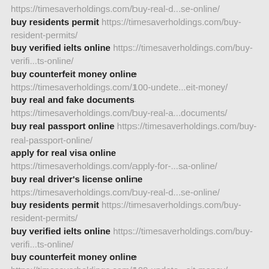buy real driver's license online https://timesaverholdings.com/buy-real-d...se-online/
buy residents permit https://timesaverholdings.com/buy-resident-permits/
buy verified ielts online https://timesaverholdings.com/buy-verifi...ts-online/
buy counterfeit money online https://timesaverholdings.com/100-undete...eit-money/
buy real and fake documents https://timesaverholdings.com/buy-real-a...documents/
buy real passport online https://timesaverholdings.com/buy-real-passport-online/
apply for real visa online https://timesaverholdings.com/apply-for-...sa-online/
buy real driver's license online https://timesaverholdings.com/buy-real-d...se-online/
buy residents permit https://timesaverholdings.com/buy-resident-permits/
buy verified ielts online https://timesaverholdings.com/buy-verifi...ts-online/
buy counterfeit money online https://timesaverholdings.com/100-undete...eit-money/
buy real and fake documents